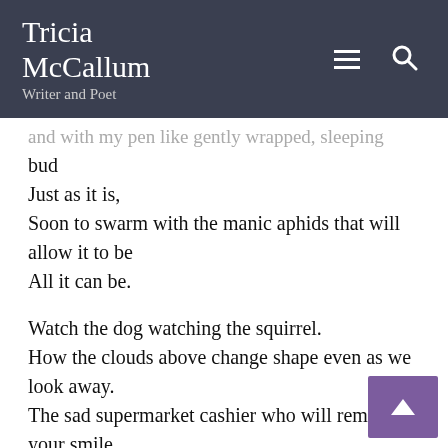Tricia McCallum
Writer and Poet
...and with my pen like gently wrapped, sleeping bud
Just as it is,
Soon to swarm with the manic aphids that will allow it to be
All it can be.

Watch the dog watching the squirrel.
How the clouds above change shape even as we look away.
The sad supermarket cashier who will remember your smile.
It's not the goal, it's the journey.
Once trite, now wise.
Did you know Margaret Atwood also wrote poet...